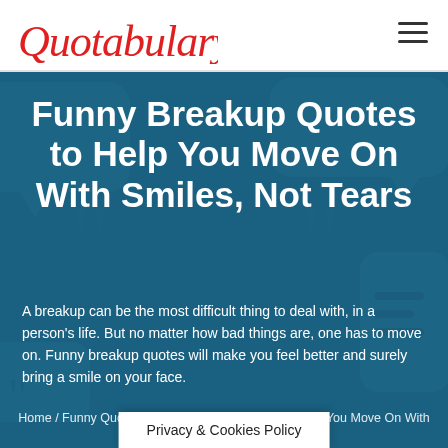[Figure (logo): Quotabulary logo in red cursive/italic script]
Quotabulary (navigation bar with hamburger menu)
Funny Breakup Quotes to Help You Move On With Smiles, Not Tears
A breakup can be the most difficult thing to deal with, in a person's life. But no matter how bad things are, one has to move on. Funny breakup quotes will make you feel better and surely bring a smile on your face.
Home / Funny Quotes / Funny Breakup Quotes to Help You Move On With Smiles, Not Tears
Privacy & Cookies Policy